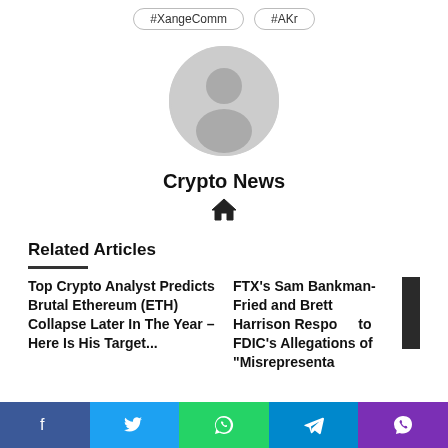#XangeComm
#AKr
[Figure (illustration): Generic user avatar icon — gray circular silhouette of a person on white background]
Crypto News
[Figure (other): Home icon (house symbol)]
Related Articles
Top Crypto Analyst Predicts Brutal Ethereum (ETH) Collapse Later In The Year – Here Is His Target...
FTX's Sam Bankman-Fried and Brett Harrison Respond to FDIC's Allegations of "Misrepresentation"
[Figure (other): Social share bar at the bottom with Facebook, Twitter, WhatsApp, Telegram, and Viber icons]